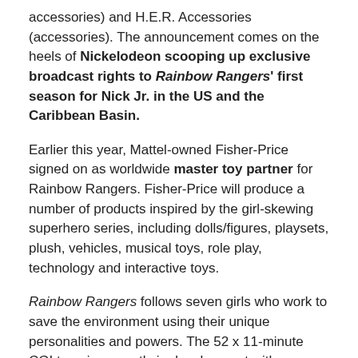accessories) and H.E.R. Accessories (accessories). The announcement comes on the heels of Nickelodeon scooping up exclusive broadcast rights to Rainbow Rangers' first season for Nick Jr. in the US and the Caribbean Basin.
Earlier this year, Mattel-owned Fisher-Price signed on as worldwide master toy partner for Rainbow Rangers. Fisher-Price will produce a number of products inspired by the girl-skewing superhero series, including dolls/figures, playsets, plush, vehicles, musical toys, role play, technology and interactive toys.
Rainbow Rangers follows seven girls who work to save the environment using their unique personalities and powers. The 52 x 11-minute CGI toon is currently in development with a planned premiere for fall 2018. Genius Brands will continue to actively pursue agreements to develop a global merchandising, licensing and retail program to coincide with the